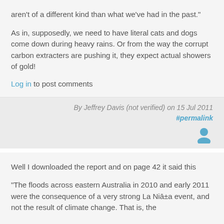aren't of a different kind than what we've had in the past."
As in, supposedly, we need to have literal cats and dogs come down during heavy rains. Or from the way the corrupt carbon extracters are pushing it, they expect actual showers of gold!
Log in to post comments
By Jeffrey Davis (not verified) on 15 Jul 2011
#permalink
[Figure (illustration): User avatar icon in blue]
Well I downloaded the report and on page 42 it said this
"The floods across eastern Australia in 2010 and early 2011
were the consequence of a very strong La Niña event, and
not the result of climate change. That is, the